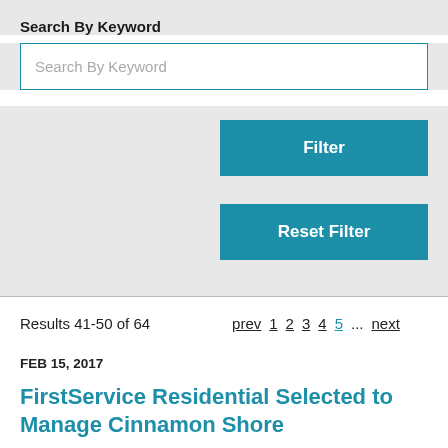Search By Keyword
Search By Keyword
Filter
Reset Filter
Results 41-50 of 64   prev  1  2  3  4  5  ...  next
FEB 15, 2017
FirstService Residential Selected to Manage Cinnamon Shore